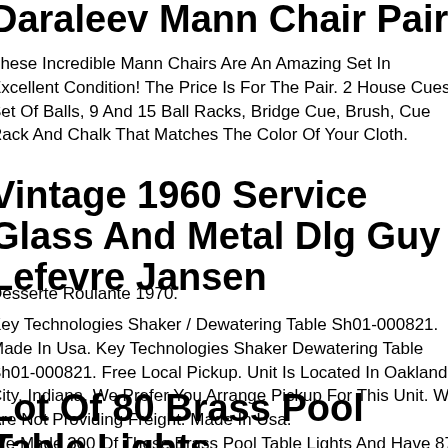Daraleev Mann Chair Pair
These Incredible Mann Chairs Are An Amazing Set In Excellent Condition! The Price Is For The Pair. 2 House Cues, Set Of Balls, 9 And 15 Ball Racks, Bridge Cue, Brush, Cue Rack And Chalk That Matches The Color Of Your Cloth.
Vintage 1960 Service Glass And Metal Dlg Guy Lefevre Jansen
Desserte Roulante 1970.
Key Technologies Shaker / Dewatering Table Sh01-000821. Made In Usa. Key Technologies Shaker Dewatering Table Sh01-000821. Free Local Pickup. Unit Is Located In Oakland City, Indiana. We Prefer You Arrange Pickup For This Unit. We Are Not Providing Freight. Made In Usa.
Lot Of 80 Brass Pool Table Lights
We Made 300 Of These Brass Pool Table Lights And Have 87 Left. All Were...